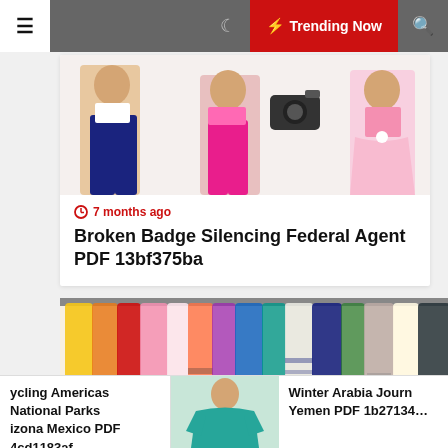≡  🌙  ⚡ Trending Now  🔍
[Figure (illustration): Illustration of women's fashion figures showing different outfits]
⏱ 7 months ago
Broken Badge Silencing Federal Agent PDF 13bf375ba
[Figure (photo): Colorful scarves hanging on display rack]
ycling Americas National Parks izona Mexico PDF 4cd1183af
[Figure (photo): Woman in teal/green top]
Winter Arabia Journ Yemen PDF 1b27134